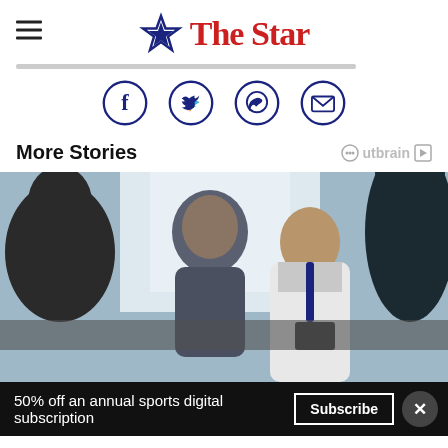The Star
[Figure (logo): The Star newspaper logo with blue star icon and red bold text]
[Figure (infographic): Social sharing icons: Facebook, Twitter, WhatsApp, Email — each in a dark blue circle outline]
More Stories
[Figure (photo): A doctor in a white coat speaking with a patient, with another figure in the foreground and background, in a bright clinical setting]
50% off an annual sports digital subscription
Subscribe